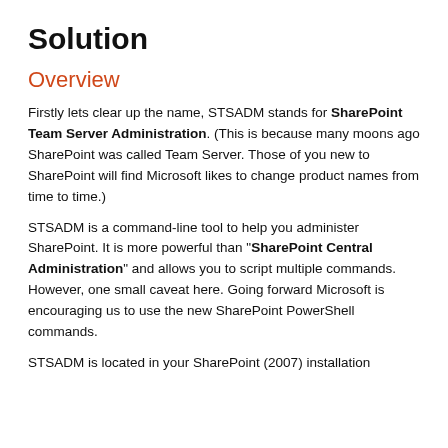Solution
Overview
Firstly lets clear up the name, STSADM stands for SharePoint Team Server Administration. (This is because many moons ago SharePoint was called Team Server. Those of you new to SharePoint will find Microsoft likes to change product names from time to time.)
STSADM is a command-line tool to help you administer SharePoint. It is more powerful than "SharePoint Central Administration" and allows you to script multiple commands. However, one small caveat here. Going forward Microsoft is encouraging us to use the new SharePoint PowerShell commands.
STSADM is located in your SharePoint (2007) installation